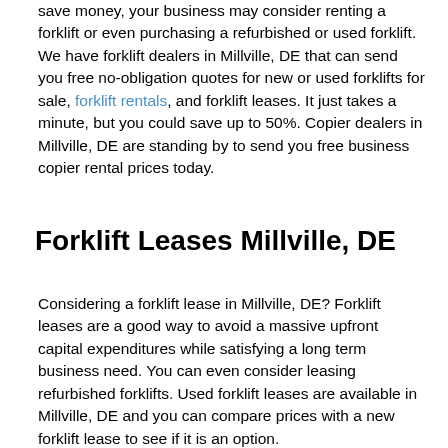save money, your business may consider renting a forklift or even purchasing a refurbished or used forklift. We have forklift dealers in Millville, DE that can send you free no-obligation quotes for new or used forklifts for sale, forklift rentals, and forklift leases. It just takes a minute, but you could save up to 50%. Copier dealers in Millville, DE are standing by to send you free business copier rental prices today.
Forklift Leases Millville, DE
Considering a forklift lease in Millville, DE? Forklift leases are a good way to avoid a massive upfront capital expenditures while satisfying a long term business need. You can even consider leasing refurbished forklifts. Used forklift leases are available in Millville, DE and you can compare prices with a new forklift lease to see if it is an option.